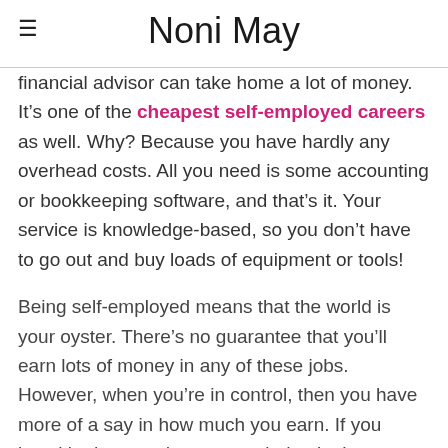Noni May
financial advisor can take home a lot of money. It’s one of the cheapest self-employed careers as well. Why? Because you have hardly any overhead costs. All you need is some accounting or bookkeeping software, and that’s it. Your service is knowledge-based, so you don’t have to go out and buy loads of equipment or tools!
Being self-employed means that the world is your oyster. There’s no guarantee that you’ll earn lots of money in any of these jobs. However, when you’re in control, then you have more of a say in how much you earn. If you knuckle down and put your mind to it, then there’s no limit to your earning potential.